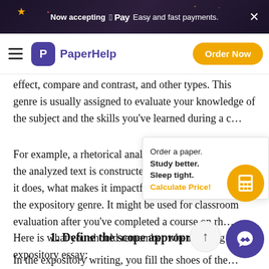Now accepting  Pay  Easy and fast payments.
PaperHelp  Order Now
effect, compare and contrast, and other types. This genre is usually assigned to evaluate your knowledge of the subject and the skills you've learned during a c…
For example, a rhetorical analysis essay where… how the analyzed text is constructed, why it works the way it does, what makes it impactful, etc., also belongs to the expository genre. It might be used for classroom evaluation after you've completed a course on rh… Here is what you should remember when writing an expository essay:
1. Define the scope appropriately
In the expository writing, you fill the shoes of the…